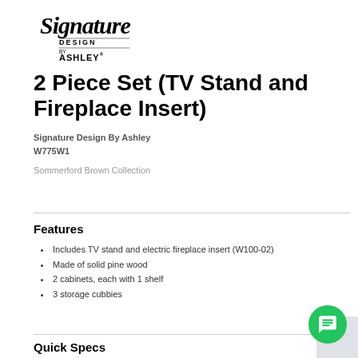[Figure (logo): Signature Design by Ashley logo in script and sans-serif text]
2 Piece Set (TV Stand and Fireplace Insert)
Signature Design By Ashley
W775W1
Sommerford Brown Collection
Features
Includes TV stand and electric fireplace insert (W100-02)
Made of solid pine wood
2 cabinets, each with 1 shelf
3 storage cubbies
Quick Specs